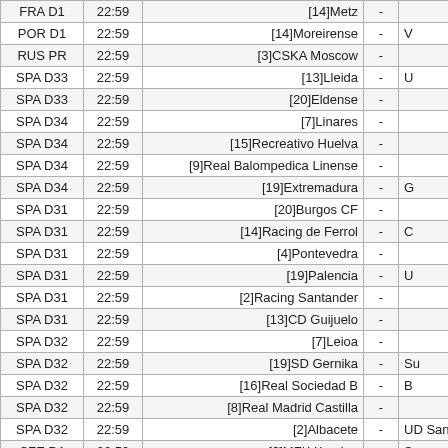| League | Time | Home |  | Away |
| --- | --- | --- | --- | --- |
| FRA D1 | 22:59 | [14]Metz | - |  |
| POR D1 | 22:59 | [14]Moreirense | - | V |
| RUS PR | 22:59 | [3]CSKA Moscow | - |  |
| SPA D33 | 22:59 | [13]Lleida | - | U |
| SPA D33 | 22:59 | [20]Eldense | - |  |
| SPA D34 | 22:59 | [7]Linares | - |  |
| SPA D34 | 22:59 | [15]Recreativo Huelva | - |  |
| SPA D34 | 22:59 | [9]Real Balompedica Linense | - |  |
| SPA D34 | 22:59 | [19]Extremadura | - | G |
| SPA D31 | 22:59 | [20]Burgos CF | - |  |
| SPA D31 | 22:59 | [14]Racing de Ferrol | - | C |
| SPA D31 | 22:59 | [4]Pontevedra | - |  |
| SPA D31 | 22:59 | [19]Palencia | - | U |
| SPA D31 | 22:59 | [2]Racing Santander | - |  |
| SPA D31 | 22:59 | [13]CD Guijuelo | - |  |
| SPA D32 | 22:59 | [7]Leioa | - |  |
| SPA D32 | 22:59 | [19]SD Gernika | - | Su |
| SPA D32 | 22:59 | [16]Real Sociedad B | - | B |
| SPA D32 | 22:59 | [8]Real Madrid Castilla | - |  |
| SPA D32 | 22:59 | [2]Albacete | - | UD San |
| CZE D1 | 22:59 | [6]MFK Karvina | - | Sy |
| SER D1 | 22:59 | [3]Partizan Belgrade | - |  |